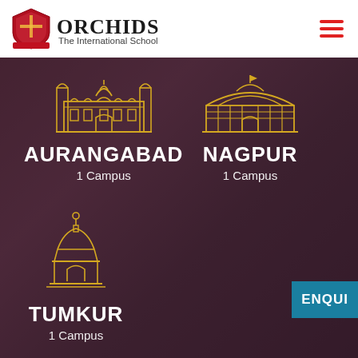[Figure (logo): Orchids The International School logo with crest and text]
[Figure (infographic): School campus location page showing city cards for Aurangabad, Nagpur, and Tumkur each with 1 Campus, overlaid on a photo background of students in uniform]
AURANGABAD
1 Campus
NAGPUR
1 Campus
TUMKUR
1 Campus
ENQUI